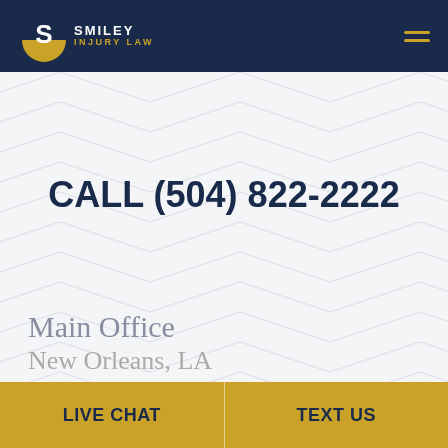[Figure (logo): Smiley Injury Law logo with S emblem and text on dark navy header background]
CALL (504) 822-2222
Main Office
New Orleans, LA
LIVE CHAT | TEXT US